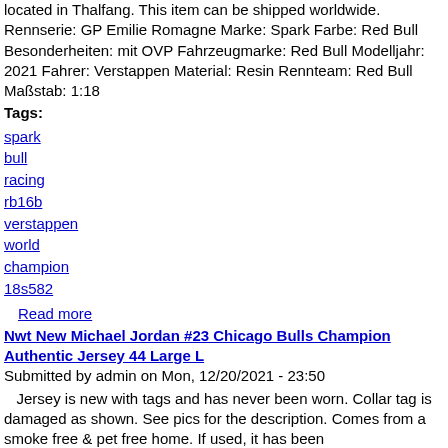located in Thalfang. This item can be shipped worldwide. Rennserie: GP Emilie Romagne Marke: Spark Farbe: Red Bull Besonderheiten: mit OVP Fahrzeugmarke: Red Bull Modelljahr: 2021 Fahrer: Verstappen Material: Resin Rennteam: Red Bull Maßstab: 1:18
Tags:
spark
bull
racing
rb16b
verstappen
world
champion
18s582
Read more
Nwt New Michael Jordan #23 Chicago Bulls Champion Authentic Jersey 44 Large L
Submitted by admin on Mon, 12/20/2021 - 23:50
Jersey is new with tags and has never been worn. Collar tag is damaged as shown. See pics for the description. Comes from a smoke free & pet free home. If used, it has been laundered/cleaned. Feel free to ask any questions. The item "NWT New MICHAEL JORDAN #23 Chicago Bulls Champion Authentic Jersey 44 Large L" is in sale since Wednesday, November 10, 2021. This item is in the category "Sports Mem, Cards & Fan Shop\Fan Apparel & Souvenirs\Basketball-NBA". The seller is "206_throwbacks" and is located in Renton, Washington. This item can be shipped to United ...
Tags: